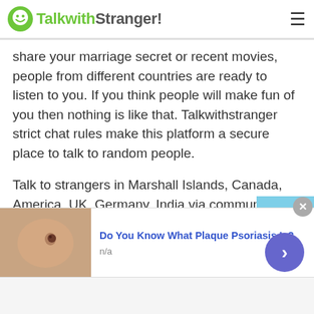TalkwithStranger!
share your marriage secret or recent movies, people from different countries are ready to listen to you. If you think people will make fun of you then nothing is like that. Talkwithstranger strict chat rules make this platform a secure place to talk to random people.
Talk to strangers in Marshall Islands, Canada, America, UK, Germany, India via community chat helps you learn new things that you have never heard before. Well, you can join the ongoing discussion or join the active conversation. However
[Figure (screenshot): Scroll-to-top button with upward chevron on light blue background]
[Figure (photo): Advertisement banner: skin close-up image with a mole, promoting 'Do You Know What Plaque Psoriasis Is?' with n/a subtext and a purple arrow button]